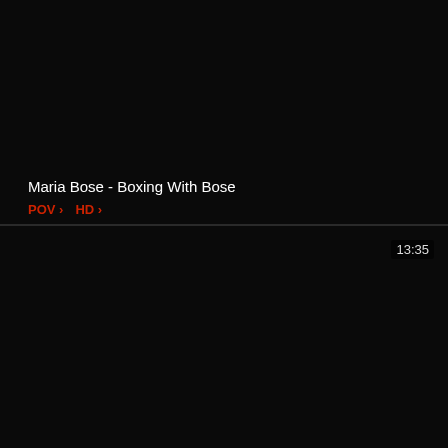[Figure (screenshot): Black video thumbnail panel, top half of screen]
Maria Bose - Boxing With Bose
POV > HD >
[Figure (screenshot): Black video thumbnail panel, bottom half of screen]
13:35